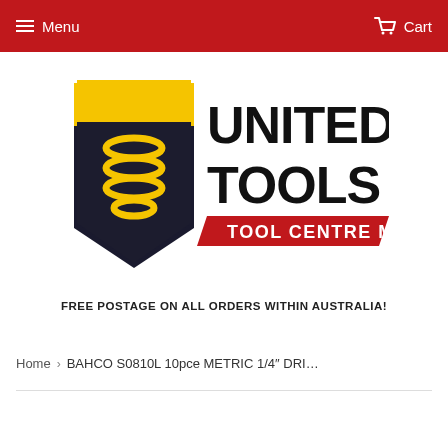Menu | Cart
[Figure (logo): United Tools Tool Centre McKinnon logo — shield with yellow top and black body with yellow spiral/drill bit graphic, large bold black text UNITED TOOLS, red banner below with white text TOOL CENTRE MCKINNON]
FREE POSTAGE ON ALL ORDERS WITHIN AUSTRALIA!
Home › BAHCO S0810L 10pce METRIC 1/4" DRI...